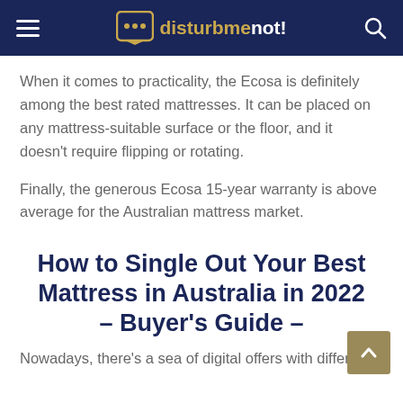disturbmenot!
When it comes to practicality, the Ecosa is definitely among the best rated mattresses. It can be placed on any mattress-suitable surface or the floor, and it doesn't require flipping or rotating.
Finally, the generous Ecosa 15-year warranty is above average for the Australian mattress market.
How to Single Out Your Best Mattress in Australia in 2022 – Buyer's Guide –
Nowadays, there's a sea of digital offers with different